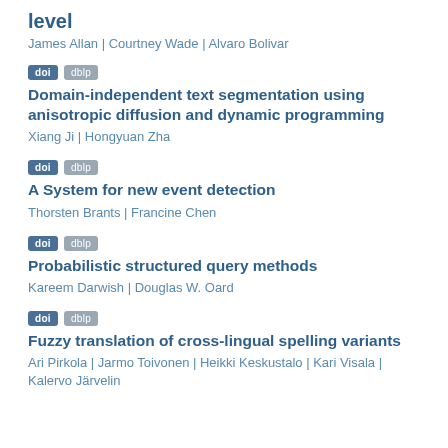level
James Allan | Courtney Wade | Alvaro Bolivar
doi dblp
Domain-independent text segmentation using anisotropic diffusion and dynamic programming
Xiang Ji | Hongyuan Zha
doi dblp
A System for new event detection
Thorsten Brants | Francine Chen
doi dblp
Probabilistic structured query methods
Kareem Darwish | Douglas W. Oard
doi dblp
Fuzzy translation of cross-lingual spelling variants
Ari Pirkola | Jarmo Toivonen | Heikki Keskustalo | Kari Visala | Kalervo Järvelin